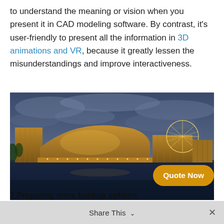to understand the meaning or vision when you present it in CAD modeling software. By contrast, it's user-friendly to present all the information in 3D animations and VR, because it greatly lessen the misunderstandings and improve interactiveness.
[Figure (photo): Architectural rendering or photograph of a modern building complex at dusk/night, illuminated with warm lights, reflected in water, with a geodesic dome structure visible on the right side and dramatic cloudy blue sky.]
The image has no bearing on th...
2.Preparing more backup options